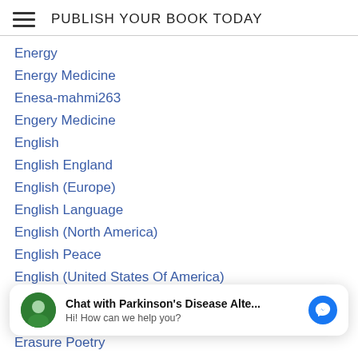PUBLISH YOUR BOOK TODAY
Energy
Energy Medicine
Enesa-mahmi263
Engery Medicine
English
English England
English (Europe)
English Language
English (North America)
English Peace
English (United States Of America)
Enlightenment
Environmental
Chat with Parkinson's Disease Alte... Hi! How can we help you?
Erasure Poetry